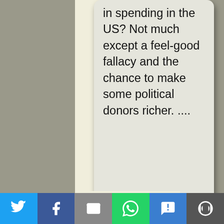in spending in the US? Not much except a feel-good fallacy and the chance to make some political donors richer. ....
[RPT: This is called crony capitalism... or, crony corporatism]
Mark Mills and James Meigs joins